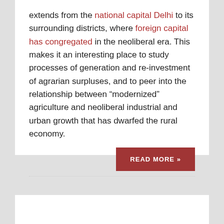extends from the national capital Delhi to its surrounding districts, where foreign capital has congregated in the neoliberal era. This makes it an interesting place to study processes of generation and re-investment of agrarian surpluses, and to peer into the relationship between “modernized” agriculture and neoliberal industrial and urban growth that has dwarfed the rural economy.
READ MORE »